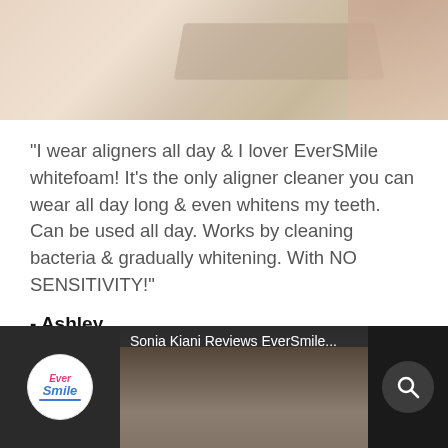[Figure (photo): Partial photo at top showing a blurred person near a desk or table, warm-toned background]
"I wear aligners all day & I lover EverSMile whitefoam! It's the only aligner cleaner you can wear all day long & even whitens my teeth. Can be used all day. Works by cleaning bacteria & gradually whitening. With NO SENSITIVITY!"
- Ashley
[Figure (screenshot): Video thumbnail showing EverSmile logo and text 'Sonia Kiani Reviews EverSmile...' with a person's face in the background and a search icon on the right]